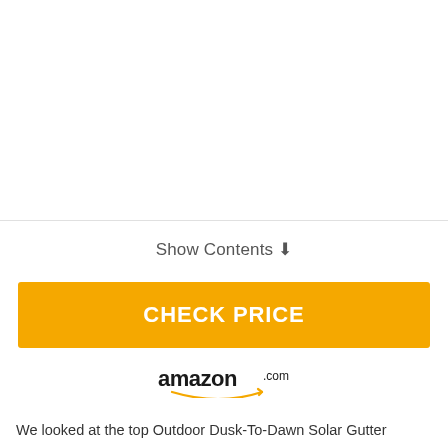[Figure (other): White blank image area above a horizontal divider line]
Show Contents ↓
CHECK PRICE
[Figure (logo): amazon.com logo with smile arc]
We looked at the top Outdoor Dusk-To-Dawn Solar Gutter